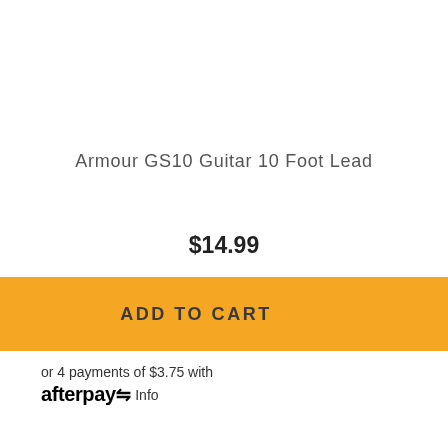Armour GS10 Guitar 10 Foot Lead
$14.99
ADD TO CART
or 4 payments of $3.75 with afterpay Info